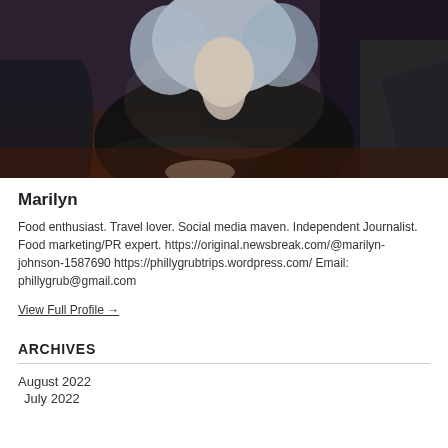[Figure (photo): Photo of Marilyn, a woman with light/blue-tinted hair wearing a black top, seated at a table with hands in front of her, dark bokeh background.]
Marilyn
Food enthusiast. Travel lover. Social media maven. Independent Journalist. Food marketing/PR expert. https://original.newsbreak.com/@marilyn-johnson-1587690 https://phillygrubtrips.wordpress.com/ Email: phillygrub@gmail.com
View Full Profile →
ARCHIVES
August 2022
July 2022